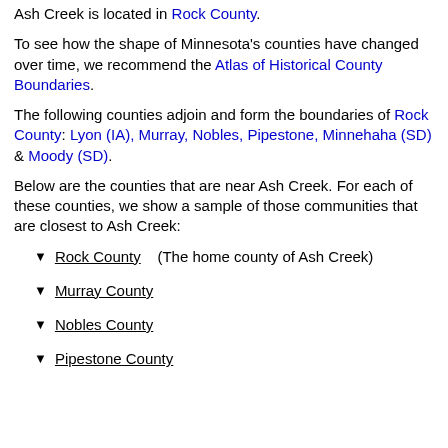Ash Creek is located in Rock County.
To see how the shape of Minnesota's counties have changed over time, we recommend the Atlas of Historical County Boundaries.
The following counties adjoin and form the boundaries of Rock County: Lyon (IA), Murray, Nobles, Pipestone, Minnehaha (SD) & Moody (SD).
Below are the counties that are near Ash Creek. For each of these counties, we show a sample of those communities that are closest to Ash Creek:
▼ Rock County    (The home county of Ash Creek)
▼ Murray County
▼ Nobles County
▼ Pipestone County